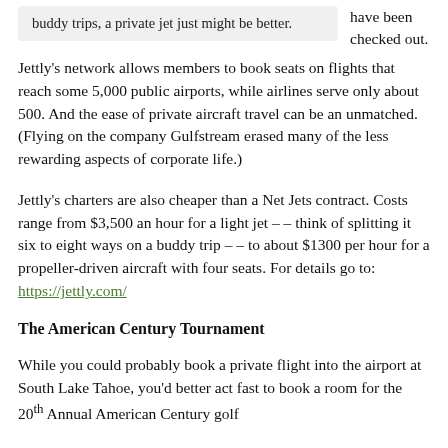buddy trips, a private jet just might be better.
have been checked out.
Jettly's network allows members to book seats on flights that reach some 5,000 public airports, while airlines serve only about 500. And the ease of private aircraft travel can be an unmatched. (Flying on the company Gulfstream erased many of the less rewarding aspects of corporate life.)
Jettly's charters are also cheaper than a Net Jets contract. Costs range from $3,500 an hour for a light jet – – think of splitting it six to eight ways on a buddy trip – – to about $1300 per hour for a propeller-driven aircraft with four seats. For details go to: https://jettly.com/
The American Century Tournament
While you could probably book a private flight into the airport at South Lake Tahoe, you'd better act fast to book a room for the 20th Annual American Century golf